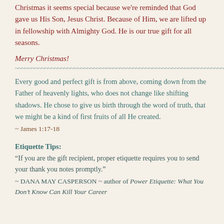Christmas it seems special because we're reminded that God gave us His Son, Jesus Christ. Because of Him, we are lifted up in fellowship with Almighty God. He is our true gift for all seasons.
Merry Christmas!
Every good and perfect gift is from above, coming down from the Father of heavenly lights, who does not change like shifting shadows. He chose to give us birth through the word of truth, that we might be a kind of first fruits of all He created.
~ James 1:17-18
Etiquette Tips:
“If you are the gift recipient, proper etiquette requires you to send your thank you notes promptly.”
~ DANA MAY CASPERSON ~ author of Power Etiquette: What You Don’t Know Can Kill Your Career